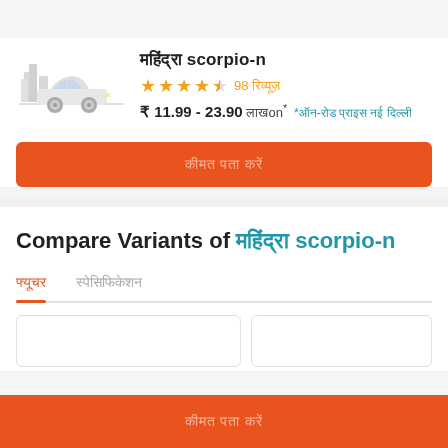[Figure (illustration): Car icon - simple outline drawing of a sedan car with cityscape silhouette in background, light gray tones]
महिंद्रा scorpio-n
★★★★½ 98 रिव्यूज़
₹ 11.99 - 23.90 लाखon* *ऑन-रोड प्राइस नई दिल्ली
कीमत पता करें (button)
Compare Variants of महिंद्रा scorpio-n
फ्यूचर
स्पेसिफिकेशन
कीमत पता करें (button)